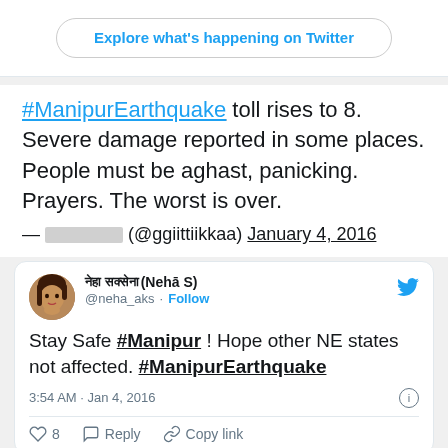Explore what's happening on Twitter
#ManipurEarthquake toll rises to 8. Severe damage reported in some places. People must be aghast, panicking. Prayers. The worst is over.
— [Hindi name] (@ggiittiikkaa) January 4, 2016
[Figure (screenshot): Embedded tweet card from नेहा सक्सेना (Nehā S) @neha_aks with text: Stay Safe #Manipur ! Hope other NE states not affected. #ManipurEarthquake. Timestamp: 3:54 AM · Jan 4, 2016. Likes: 8.]